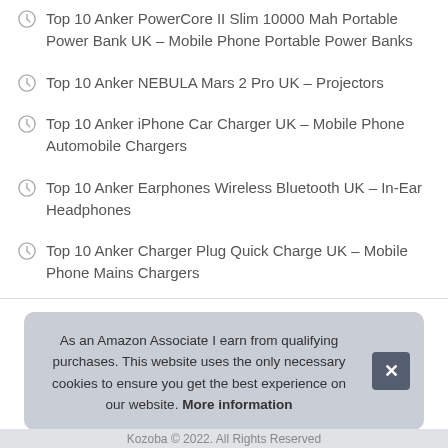Top 10 Anker PowerCore II Slim 10000 Mah Portable Power Bank UK – Mobile Phone Portable Power Banks
Top 10 Anker NEBULA Mars 2 Pro UK – Projectors
Top 10 Anker iPhone Car Charger UK – Mobile Phone Automobile Chargers
Top 10 Anker Earphones Wireless Bluetooth UK – In-Ear Headphones
Top 10 Anker Charger Plug Quick Charge UK – Mobile Phone Mains Chargers
As an Amazon Associate I earn from qualifying purchases. This website uses the only necessary cookies to ensure you get the best experience on our website. More information
Kozoba © 2022. All Rights Reserved